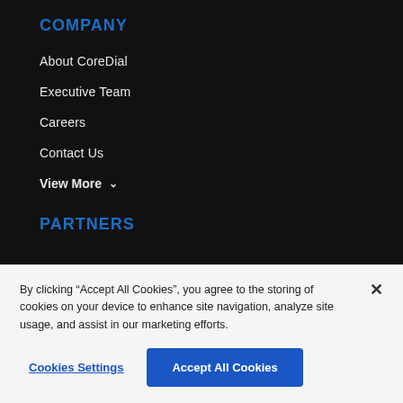COMPANY
About CoreDial
Executive Team
Careers
Contact Us
View More
PARTNERS
By clicking “Accept All Cookies”, you agree to the storing of cookies on your device to enhance site navigation, analyze site usage, and assist in our marketing efforts.
Cookies Settings
Accept All Cookies